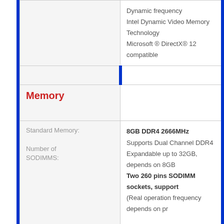| Feature | Details |
| --- | --- |
|  | Dynamic frequency
Intel Dynamic Video Memory Technology
Microsoft ® DirectX® 12 compatible |
|  |  |
| Memory |  |
| Standard Memory:
Number of SODIMMS: | 8GB DDR4 2666MHz
Supports Dual Channel DDR4
Expandable up to 32GB, depends on 8GB
Two 260 pins SODIMM sockets, support
(Real operation frequency depends on pr |
|  |  |
| Audio Features |  |
| Audio Features: | High Definition audio interface
Built-in Array Microphone |